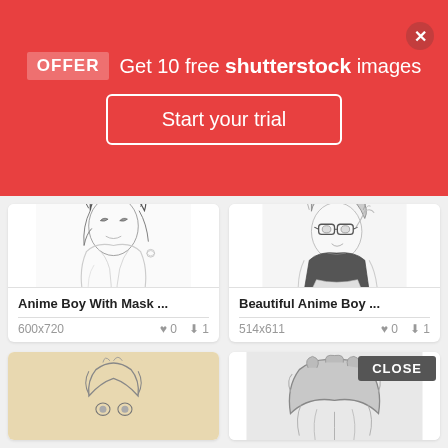[Figure (screenshot): Shutterstock promotional banner overlay: red background with 'OFFER Get 10 free shutterstock images' text, 'Start your trial' button, and close X button]
[Figure (photo): Anime Boy With Mask illustration, black and white sketch, 600x720, 0 likes, 1 download]
Anime Boy With Mask ...
600x720  ♥ 0  ⬇ 1
[Figure (photo): Beautiful Anime Boy illustration, black and white sketch with glasses, 514x611, 0 likes, 1 download]
Beautiful Anime Boy ...
514x611  ♥ 0  ⬇ 1
[Figure (photo): Partial view of anime boy illustration on tan/beige background, bottom of page]
[Figure (photo): Partial view of anime character hair illustration, bottom right of page]
CLOSE